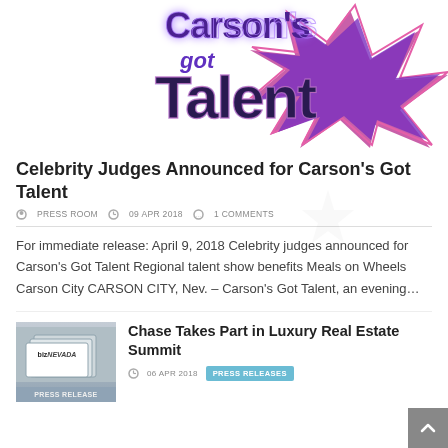[Figure (logo): Carson's Got Talent logo with neon pink and purple star burst design]
Celebrity Judges Announced for Carson's Got Talent
PRESS ROOM  09 APR 2018  1 COMMENTS
For immediate release: April 9, 2018 Celebrity judges announced for Carson's Got Talent Regional talent show benefits Meals on Wheels Carson City CARSON CITY, Nev. – Carson's Got Talent, an evening…
[Figure (photo): bizNEVADA press release thumbnail image with layered pages graphic]
Chase Takes Part in Luxury Real Estate Summit
06 APR 2018  PRESS RELEASES